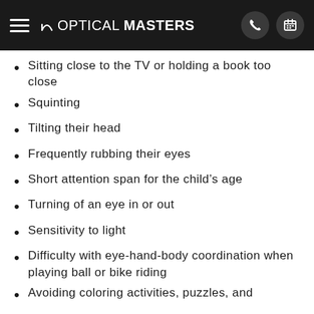OPTICAL MASTERS
Sitting close to the TV or holding a book too close
Squinting
Tilting their head
Frequently rubbing their eyes
Short attention span for the child’s age
Turning of an eye in or out
Sensitivity to light
Difficulty with eye-hand-body coordination when playing ball or bike riding
Avoiding coloring activities, puzzles, and